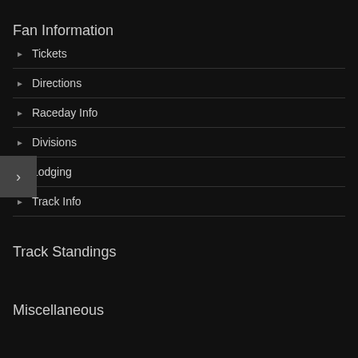Fan Information
Tickets
Directions
Raceday Info
Divisions
Lodging
Track Info
Track Standings
Miscellaneous